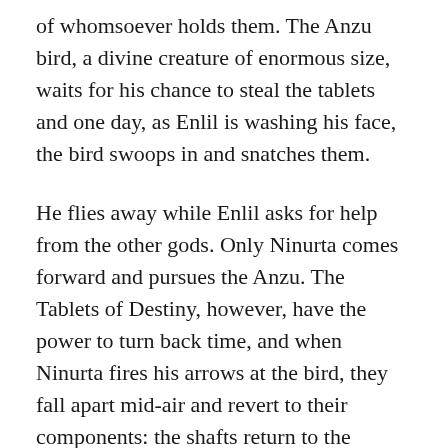of whomsoever holds them. The Anzu bird, a divine creature of enormous size, waits for his chance to steal the tablets and one day, as Enlil is washing his face, the bird swoops in and snatches them.
He flies away while Enlil asks for help from the other gods. Only Ninurta comes forward and pursues the Anzu. The Tablets of Destiny, however, have the power to turn back time, and when Ninurta fires his arrows at the bird, they fall apart mid-air and revert to their components: the shafts return to the canebrake, the feathers to birds, the tip to the quarry. Even Ninurta's bow goes back to the woods and the bowstring to a sheep. Ninurta is driven back by the Anzu but calls upon the south wind, which tears the bird's wings off, dropping